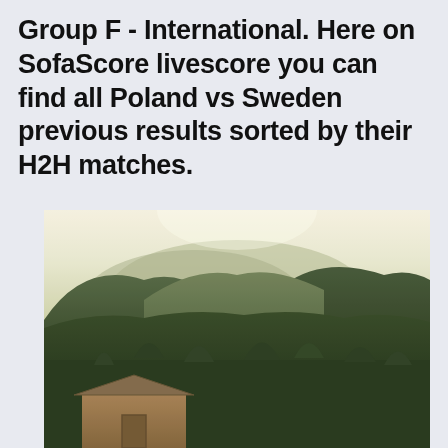Group F - International. Here on SofaScore livescore you can find all Poland vs Sweden previous results sorted by their H2H matches.
[Figure (photo): Outdoor landscape photograph showing green forested hills and mountains in the background under a bright hazy sky, with a small wooden cabin or barn structure visible in the lower-left foreground.]